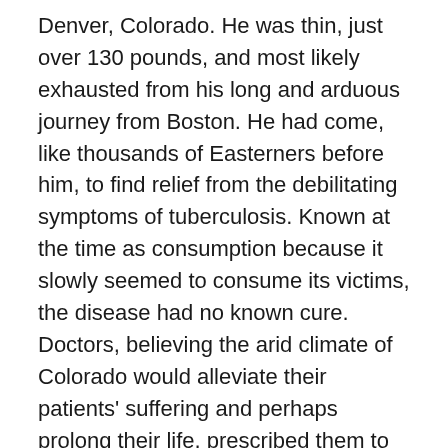Denver, Colorado. He was thin, just over 130 pounds, and most likely exhausted from his long and arduous journey from Boston. He had come, like thousands of Easterners before him, to find relief from the debilitating symptoms of tuberculosis. Known at the time as consumption because it slowly seemed to consume its victims, the disease had no known cure. Doctors, believing the arid climate of Colorado would alleviate their patients' suffering and perhaps prolong their life, prescribed them to go west and rest.
At the time of his diagnosis, Parker was just twenty years old. It appears he was first sent to a sanatorium in New Hampshire, but this must have proved unsuccessful. Prior to that time he had spent most of his life in the towns surrounding Boston. He was born in 1861 to Lawrence P. Soule and Marcia B. Eldridge in Foxboro. His father, a